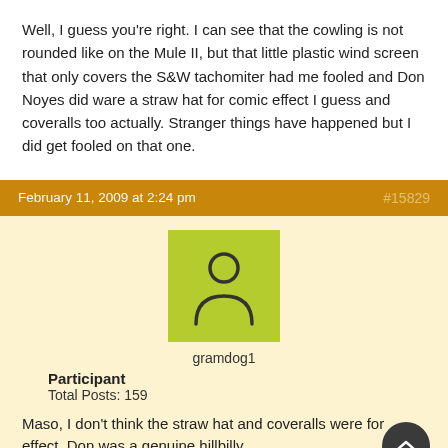Well, I guess you're right. I can see that the cowling is not rounded like on the Mule II, but that little plastic wind screen that only covers the S&W tachomiter had me fooled and Don Noyes did ware a straw hat for comic effect I guess and coveralls too actually. Stranger things have happened but I did get fooled on that one.
February 11, 2009 at 2:24 pm  #15829
[Figure (illustration): Default user avatar: green/yellow-green square with a generic person silhouette icon in dark outline]
gramdog1
Participant
Total Posts: 159
Maso, I don't think the straw hat and coveralls were for effect, Don was a genuine hillbilly.
March 3, 2009 at 5:47 pm  #16170